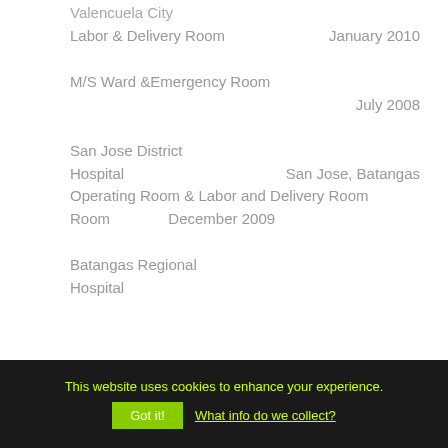Valencuela City
Labor & Delivery Room
January 2010
M/S Ward &Emergency Room
July 2008
San Jose District Hospital
San Jose, Batangas
Operating Room & Labor and Delivery Room
December 2009
Batangas Regional Hospital
This website uses cookies to enhance your experience.
Got it!
What info do we collect?